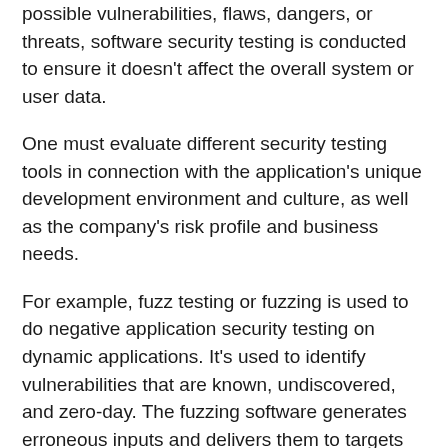possible vulnerabilities, flaws, dangers, or threats, software security testing is conducted to ensure it doesn't affect the overall system or user data.
One must evaluate different security testing tools in connection with the application's unique development environment and culture, as well as the company's risk profile and business needs.
For example, fuzz testing or fuzzing is used to do negative application security testing on dynamic applications. It's used to identify vulnerabilities that are known, undiscovered, and zero-day. The fuzzing software generates erroneous inputs and delivers them to targets automatically. Click this link to learn more information about fuzz testing.
Thus, businesses need to know how to choose